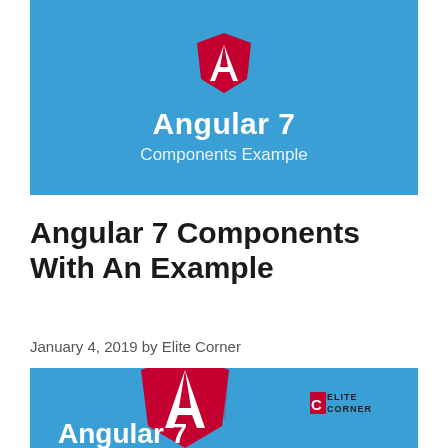[Figure (illustration): Angular 7 Components Example banner with Angular logo (red shield with white A) on blue background, white text 'Angular 7' and 'Components Example']
Angular 7 Components With An Example
January 4, 2019 by Elite Corner
[Figure (illustration): Second Angular 7 banner on blue background with Angular logo and Elite Corner branding, partially visible text 'Angular 7']